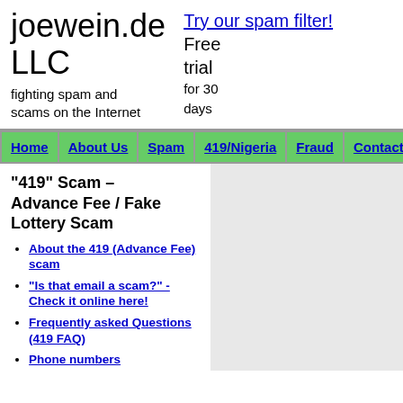joewein.de LLC
fighting spam and scams on the Internet
Try our spam filter! Free trial for 30 days
Home | About Us | Spam | 419/Nigeria | Fraud | Contact
"419" Scam – Advance Fee / Fake Lottery Scam
About the 419 (Advance Fee) scam
"Is that email a scam?" - Check it online here!
Frequently asked Questions (419 FAQ)
Phone numbers